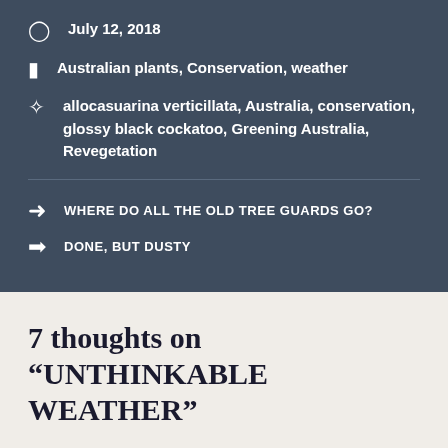July 12, 2018
Australian plants, Conservation, weather
allocasuarina verticillata, Australia, conservation, glossy black cockatoo, Greening Australia, Revegetation
WHERE DO ALL THE OLD TREE GUARDS GO?
DONE, BUT DUSTY
7 thoughts on "UNTHINKABLE WEATHER"